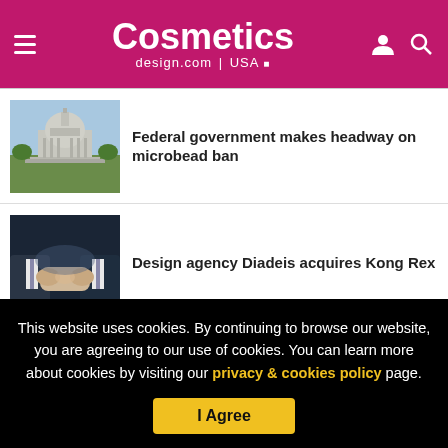Cosmetics design.com | USA
Federal government makes headway on microbead ban
[Figure (photo): US Capitol building with green lawn in foreground]
Design agency Diadeis acquires Kong Rex
[Figure (photo): Two people in business suits shaking hands against dark background]
Show more
This website uses cookies. By continuing to browse our website, you are agreeing to our use of cookies. You can learn more about cookies by visiting our privacy & cookies policy page.
I Agree